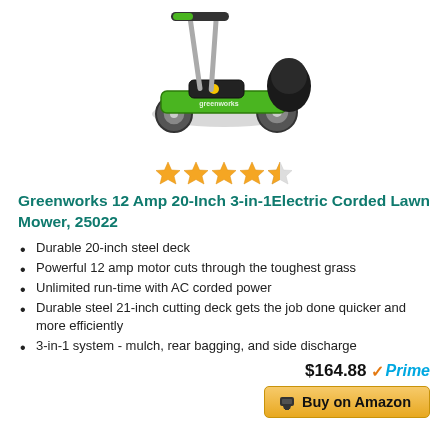[Figure (photo): A green Greenworks electric corded lawn mower with black grass bag attachment, shown from a side-front angle.]
[Figure (other): 4.5 out of 5 stars rating shown as golden star icons.]
Greenworks 12 Amp 20-Inch 3-in-1Electric Corded Lawn Mower, 25022
Durable 20-inch steel deck
Powerful 12 amp motor cuts through the toughest grass
Unlimited run-time with AC corded power
Durable steel 21-inch cutting deck gets the job done quicker and more efficiently
3-in-1 system - mulch, rear bagging, and side discharge
$164.88 Prime
Buy on Amazon